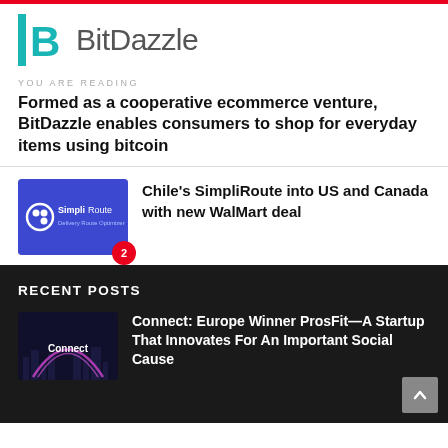BitDazzle
YOU ARE READING
Formed as a cooperative ecommerce venture, BitDazzle enables consumers to shop for everyday items using bitcoin
[Figure (logo): SimpliRoute logo on blue background with badge number 2]
Chile's SimpliRoute into US and Canada with new WalMart deal
RECENT POSTS
[Figure (photo): Connect event promotional image with purple/pink arch lights]
Connect: Europe Winner ProsFit—A Startup That Innovates For An Important Social Cause